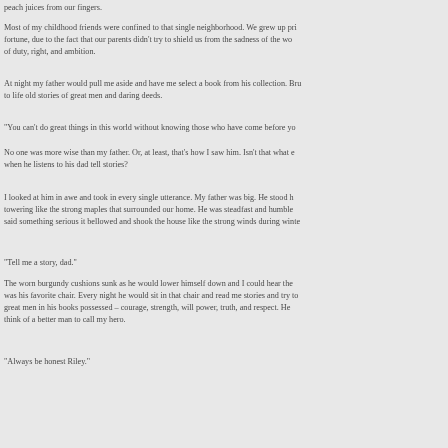peach juices from our fingers.
Most of my childhood friends were confined to that single neighborhood. We grew up pri fortune, due to the fact that our parents didn't try to shield us from the sadness of the wo of duty, right, and ambition.
At night my father would pull me aside and have me select a book from his collection. Bru to life old stories of great men and daring deeds.
“You can’t do great things in this world without knowing those who have come before yo
No one was more wise than my father. Or, at least, that’s how I saw him. Isn’t that what e when he listens to his dad tell stories?
I looked at him in awe and took in every single utterance. My father was big. He stood h towering like the strong maples that surrounded our home. He was steadfast and humble said something serious it bellowed and shook the house like the strong winds during winte
“Tell me a story, dad.”
The worn burgundy cushions sunk as he would lower himself down and I could hear the was his favorite chair. Every night he would sit in that chair and read me stories and try to great men in his books possessed – courage, strength, will power, truth, and respect. He think of a better man to call my hero.
“Always be honest Riley.”